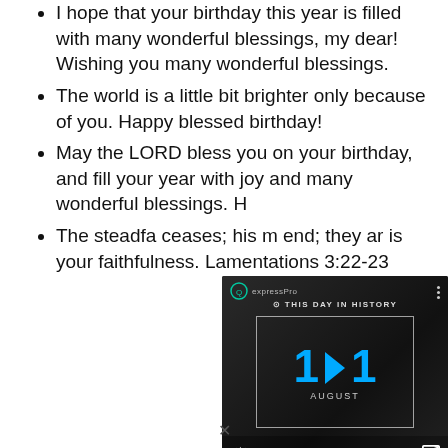I hope that your birthday this year is filled with many wonderful blessings, my dear! Wishing you many wonderful blessings.
The world is a little bit brighter only because of you. Happy blessed birthday!
May the LORD bless you on your birthday, and fill your year with joy and many wonderful blessings. H...
The steadfast love of the LORD never ceases; his mercies never come to an end; they are new every morning; great is your faithfulness. Lamentations 3:22-23
[Figure (screenshot): A video player overlay showing 'This Day in History' with the date 1 August (August 1), play controls, mute icon, progress bar with blue dot, and expand icon. Dark background with partial view of a person.]